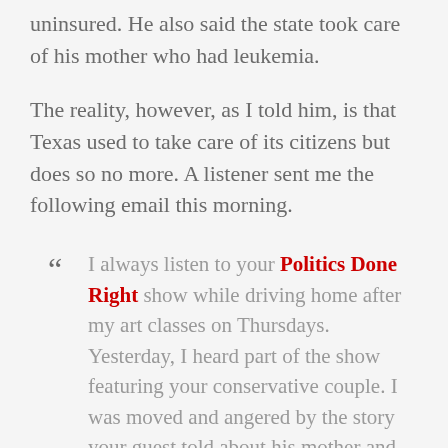uninsured. He also said the state took care of his mother who had leukemia.
The reality, however, as I told him, is that Texas used to take care of its citizens but does so no more. A listener sent me the following email this morning.
" I always listen to your Politics Done Right show while driving home after my art classes on Thursdays. Yesterday, I heard part of the show featuring your conservative couple. I was moved and angered by the story your guest told about his mother and how wonderful the State of Texas